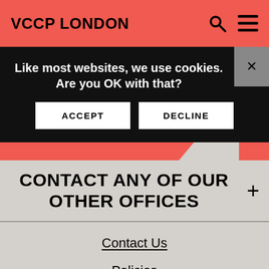VCCP LONDON
Like most websites, we use cookies. Are you OK with that?
ACCEPT
DECLINE
CONTACT ANY OF OUR OTHER OFFICES
Contact Us
Policies
Accessibility